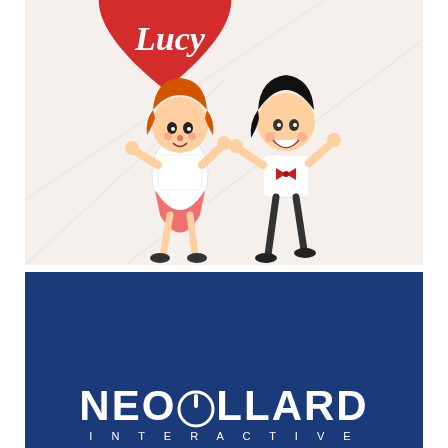[Figure (illustration): Cartoon illustration of two characters dancing — a red-haired woman in a white dress with a pink skirt and a dark-haired man in a white suit with a red bow tie — against a white fabric background with a red heart partially visible at the top with the word 'Lucy' in script. This appears to be an 'I Love Lucy' themed graphic.]
[Figure (logo): Neopollard Interactive logo on a dark navy blue background. White bold text reads 'NEOPOLLARD' with a stylized power button icon inside the letter O. Below in spaced white letters: 'INTERACTIVE'.]